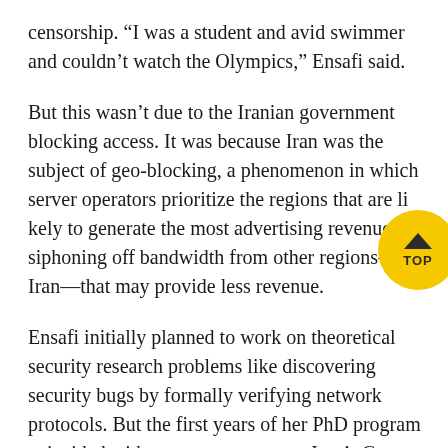censorship. “I was a student and avid swimmer and couldn’t watch the Olympics,” Ensafi said.
But this wasn’t due to the Iranian government blocking access. It was because Iran was the subject of geo-blocking, a phenomenon in which server operators prioritize the regions that are likely to generate the most advertising revenue, siphoning off bandwidth from other regions—like Iran—that may provide less revenue.
[Figure (other): Yellow circular TOP button with upward chevron arrow and text TOP]
Ensafi initially planned to work on theoretical security research problems like discovering security bugs by formally verifying network protocols. But the first years of her PhD program coincided with momentous events: Iran’s Green Revolution—where protests erupted contesting the